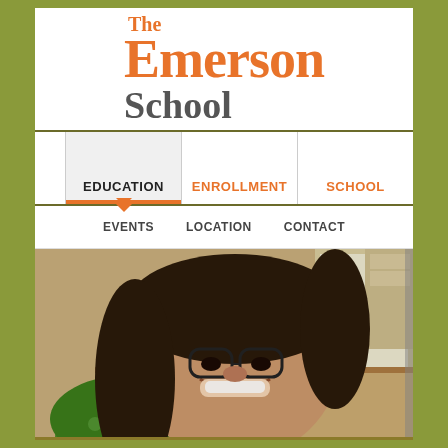[Figure (logo): The Emerson School logo — 'The' in small orange serif, 'Emerson' in large orange serif, 'School' in large gray serif]
EDUCATION
ENROLLMENT
SCHOOL
EVENTS
LOCATION
CONTACT
[Figure (photo): A smiling woman with glasses in a green floral top and a young boy in a blue plaid shirt working at a classroom desk]
PROJECT APPROACH
MATHEMATICS